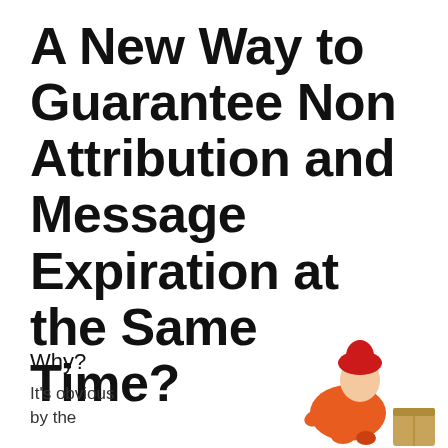A New Way to Guarantee Non Attribution and Message Expiration at the Same Time?
Why?
It's obvious by the
[Figure (illustration): A cartoon illustration of a person with a red hat and orange clothing, appearing to sit or crouch, with a tan/wooden box element at lower right]